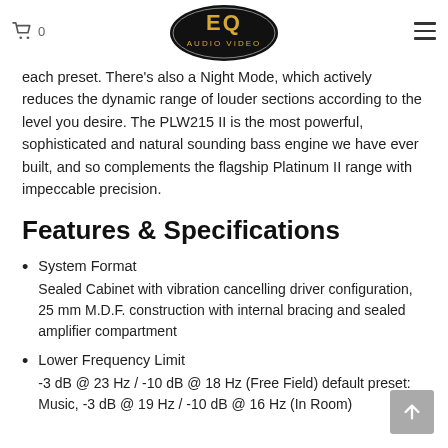EQ AUDIO VIDEO (logo) — cart icon with 0, hamburger menu
each preset. There's also a Night Mode, which actively reduces the dynamic range of louder sections according to the level you desire. The PLW215 II is the most powerful, sophisticated and natural sounding bass engine we have ever built, and so complements the flagship Platinum II range with impeccable precision.
Features & Specifications
System Format
Sealed Cabinet with vibration cancelling driver configuration, 25 mm M.D.F. construction with internal bracing and sealed amplifier compartment
Lower Frequency Limit
-3 dB @ 23 Hz / -10 dB @ 18 Hz (Free Field) default preset: Music, -3 dB @ 19 Hz / -10 dB @ 16 Hz (In Room)